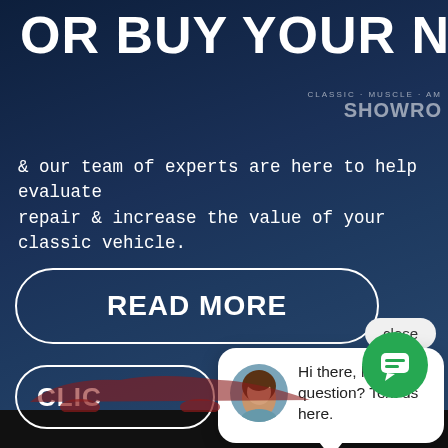OR BUY YOUR NEXT...
& our team of experts are here to help evaluate repair & increase the value of your classic vehicle.
READ MORE
CLIC
close
Hi there, have a question? Text us here.